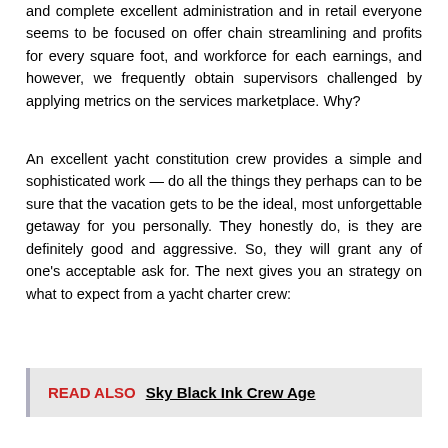and complete excellent administration and in retail everyone seems to be focused on offer chain streamlining and profits for every square foot, and workforce for each earnings, and however, we frequently obtain supervisors challenged by applying metrics on the services marketplace. Why?
An excellent yacht constitution crew provides a simple and sophisticated work — do all the things they perhaps can to be sure that the vacation gets to be the ideal, most unforgettable getaway for you personally. They honestly do, is they are definitely good and aggressive. So, they will grant any of one's acceptable ask for. The next gives you an strategy on what to expect from a yacht charter crew:
READ ALSO  Sky Black Ink Crew Age
Manufacturing a tv system demands the endeavours from several proficient and competent folks. Have you ever wondered particularly about all the following along with question on a certain decision …? The